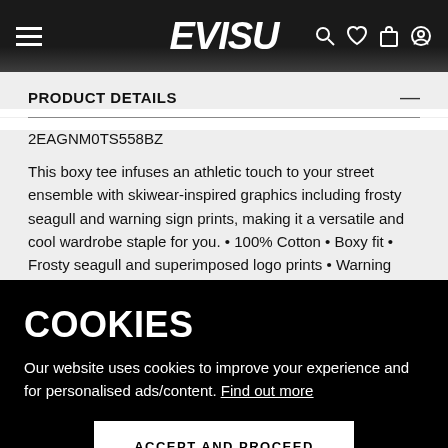EVISU
PRODUCT DETAILS
2EAGNM0TS558BZ
This boxy tee infuses an athletic touch to your street ensemble with skiwear-inspired graphics including frosty seagull and warning sign prints, making it a versatile and cool wardrobe staple for you. • 100% Cotton • Boxy fit • Frosty seagull and superimposed logo prints • Warning sign and
COOKIES
Our website uses cookies to improve your experience and for personalised ads/content. Find out more
ACCEPT AND PROCEED